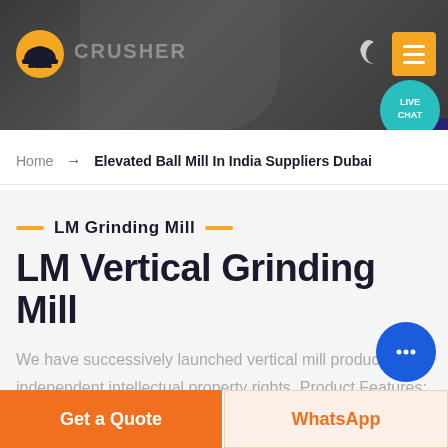CRUSHER — Header with logo and navigation menu
Home → Elevated Ball Mill In India Suppliers Dubai
LM Grinding Mill
LM Vertical Grinding Mill
We have successively launched vertical mill products with independent intellectual property rights. Product Features: Integration of multiple functions, more stable and reliable production and more excellent capacity
Get a Quote | WhatsApp